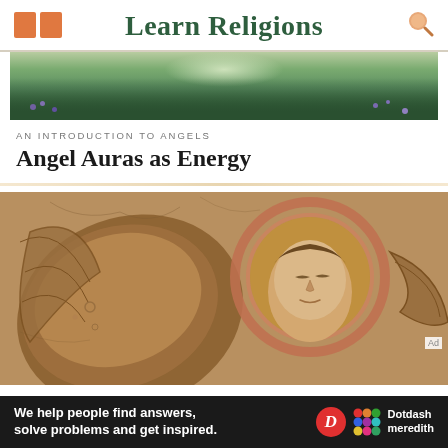Learn Religions
[Figure (photo): Garden with green plants and purple flowers, misty background]
AN INTRODUCTION TO ANGELS
Angel Auras as Energy
[Figure (photo): Ancient fresco painting of an angel with halo and wings, Byzantine style, ochre and terracotta tones]
Ad
We help people find answers, solve problems and get inspired. Dotdash meredith